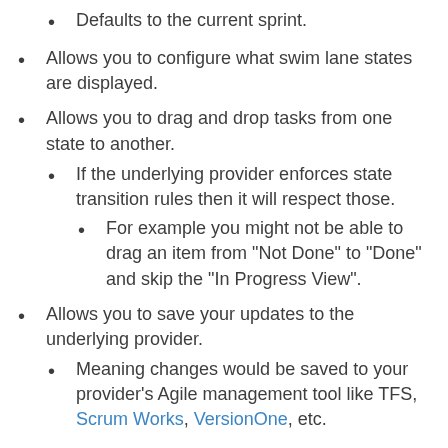Defaults to the current sprint.
Allows you to configure what swim lane states are displayed.
Allows you to drag and drop tasks from one state to another.
If the underlying provider enforces state transition rules then it will respect those.
For example you might not be able to drag an item from "Not Done" to "Done" and skip the "In Progress View".
Allows you to save your updates to the underlying provider.
Meaning changes would be saved to your provider's Agile management tool like TFS, Scrum Works, VersionOne, etc.
Allows you to sort by any available field from the